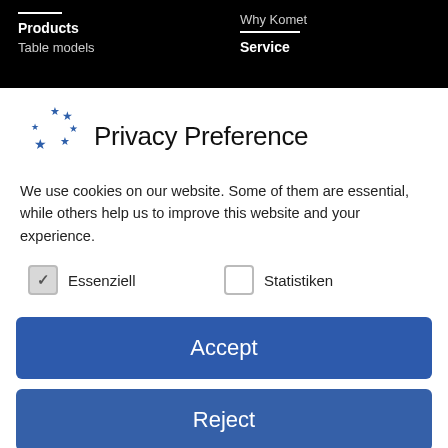Products | Table models | Why Komet | Service
Privacy Preference
We use cookies on our website. Some of them are essential, while others help us to improve this website and your experience.
Essenziell (checked)
Statistiken (unchecked)
Accept
Reject
Individual Privacy Preferences
Cookie Details | Privacy Policy | Imprint